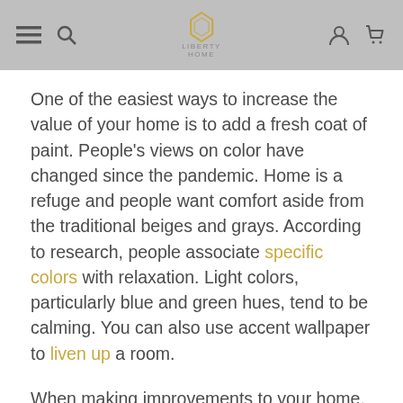[navigation bar with hamburger menu, search, logo, user icon, cart icon]
One of the easiest ways to increase the value of your home is to add a fresh coat of paint. People's views on color have changed since the pandemic. Home is a refuge and people want comfort aside from the traditional beiges and grays. According to research, people associate specific colors with relaxation. Light colors, particularly blue and green hues, tend to be calming. You can also use accent wallpaper to liven up a room.
When making improvements to your home, consider what may boost the overall value.